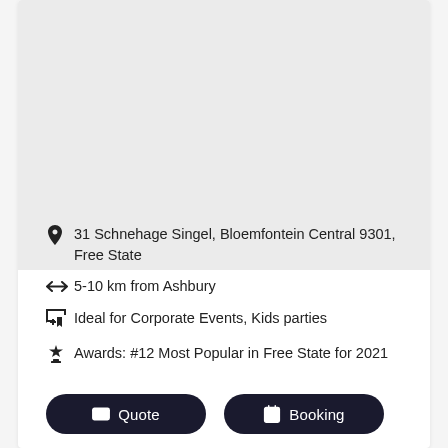[Figure (photo): Gray placeholder image area at top of venue card]
31 Schnehage Singel, Bloemfontein Central 9301, Free State
5-10 km from Ashbury
Ideal for Corporate Events, Kids parties
Awards: #12 Most Popular in Free State for 2021
Quote  Booking